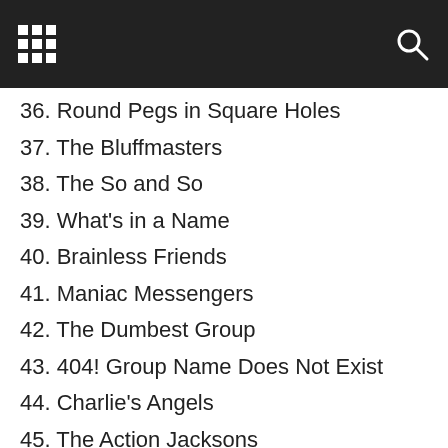36. Round Pegs in Square Holes
37. The Bluffmasters
38. The So and So
39. What's in a Name
40. Brainless Friends
41. Maniac Messengers
42. The Dumbest Group
43. 404! Group Name Does Not Exist
44. Charlie's Angels
45. The Action Jacksons
46. Free Birds
47. 24×7 Drama
48. No Spamming
49. The Local Losers
50. Trash
51. Don't Join
52. We Can Talk All Day Without a Break